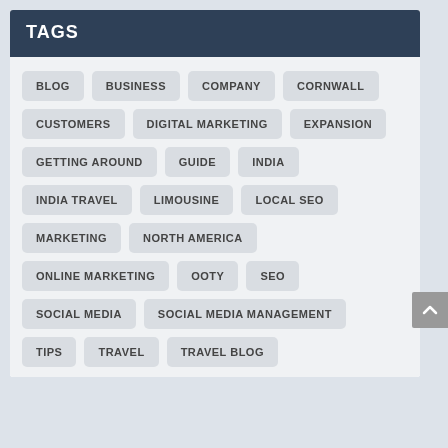TAGS
BLOG
BUSINESS
COMPANY
CORNWALL
CUSTOMERS
DIGITAL MARKETING
EXPANSION
GETTING AROUND
GUIDE
INDIA
INDIA TRAVEL
LIMOUSINE
LOCAL SEO
MARKETING
NORTH AMERICA
ONLINE MARKETING
OOTY
SEO
SOCIAL MEDIA
SOCIAL MEDIA MANAGEMENT
TIPS
TRAVEL
TRAVEL BLOG